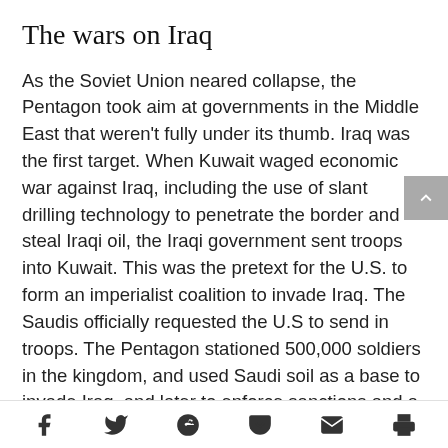The wars on Iraq
As the Soviet Union neared collapse, the Pentagon took aim at governments in the Middle East that weren't fully under its thumb. Iraq was the first target. When Kuwait waged economic war against Iraq, including the use of slant drilling technology to penetrate the border and steal Iraqi oil, the Iraqi government sent troops into Kuwait. This was the pretext for the U.S. to form an imperialist coalition to invade Iraq. The Saudis officially requested the U.S to send in troops. The Pentagon stationed 500,000 soldiers in the kingdom, and used Saudi soil as a base to invade Iraq, and later to enforce sanctions and a no-fly zone.
The Sept. 11 attack served as a pretext to invade Iraq in 2003. The corporate media whipped up a hysteria
f  [twitter]  [reddit]  [pocket]  [mail]  [print]